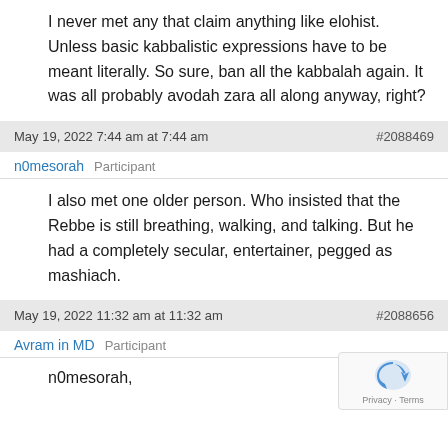I never met any that claim anything like elohist. Unless basic kabbalistic expressions have to be meant literally. So sure, ban all the kabbalah again. It was all probably avodah zara all along anyway, right?
May 19, 2022 7:44 am at 7:44 am   #2088469
n0mesorah   Participant
I also met one older person. Who insisted that the Rebbe is still breathing, walking, and talking. But he had a completely secular, entertainer, pegged as mashiach.
May 19, 2022 11:32 am at 11:32 am   #2088656
Avram in MD   Participant
n0mesorah,